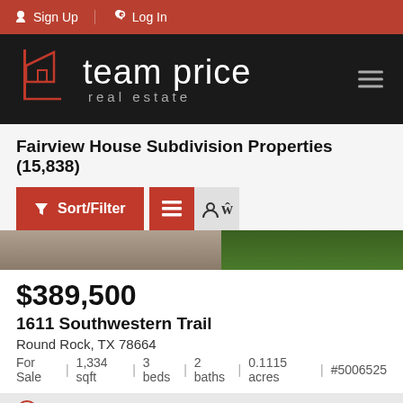Sign Up  Log In
[Figure (logo): Team Price Real Estate logo with house icon on black background]
Fairview House Subdivision Properties (15,838)
Sort/Filter
[Figure (photo): Partial view of a property exterior with grass]
$389,500
1611 Southwestern Trail
Round Rock, TX 78664
For Sale  |  1,334 sqft  |  3 beds  |  2 baths  |  0.1115 acres  |  #5006525
Listed Yesterday at 11:07PM